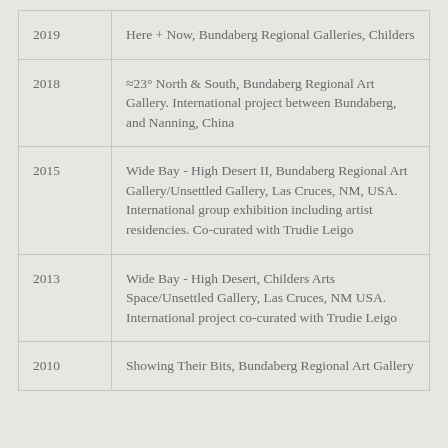| Year | Exhibition |
| --- | --- |
| 2019 | Here + Now, Bundaberg Regional Galleries, Childers |
| 2018 | ≈23° North & South, Bundaberg Regional Art Gallery. International project between Bundaberg, and Nanning, China |
| 2015 | Wide Bay - High Desert II, Bundaberg Regional Art Gallery/Unsettled Gallery, Las Cruces, NM, USA. International group exhibition including artist residencies. Co-curated with Trudie Leigo |
| 2013 | Wide Bay - High Desert, Childers Arts Space/Unsettled Gallery, Las Cruces, NM USA. International project co-curated with Trudie Leigo |
| 2010 | Showing Their Bits, Bundaberg Regional Art Gallery |